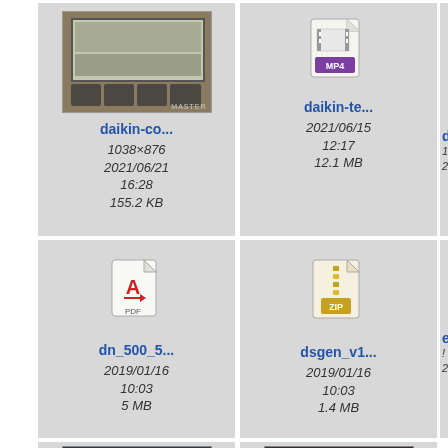[Figure (screenshot): File browser grid view showing file thumbnails. Row 1: daikin-co... (photo of calculator/controller device, 1038x876, 2021/06/21 16:28, 155.2 KB), daikin-te... (MP4 video file icon, 2021/06/15 12:17, 12.1 MB), de... (partially visible). Row 2: dn_500_5... (PDF file icon, 2019/01/16 10:03, 5 MB), dsgen_v1... (ZIP file icon, 2019/01/16 10:03, 1.4 MB), ed... (partially visible). Row 3: Two partially visible thumbnails at bottom.]